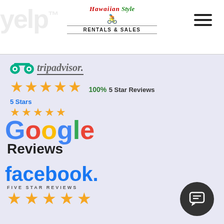[Figure (logo): Hawaiian Style Rentals & Sales logo with decorative script text and bicycle icon, plus Yelp watermark in background]
[Figure (logo): TripAdvisor logo with 5 star rating showing 100% 5 Star Reviews]
[Figure (logo): Google Reviews logo with 5 Stars rating]
[Figure (logo): Facebook Five Star Reviews logo with 5 gold stars]